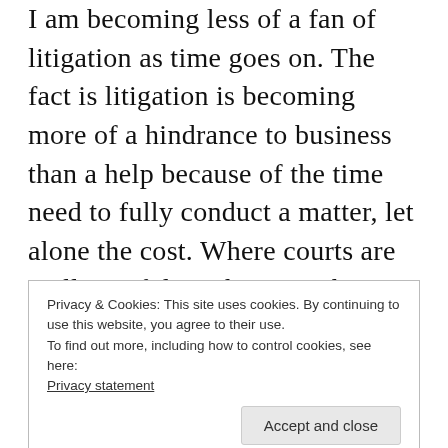I am becoming less of a fan of litigation as time goes on. The fact is litigation is becoming more of a hindrance to business than a help because of the time need to fully conduct a matter, let alone the cost. Where courts are really useful is where you have a matter of great urgency and there the courts can really assist you because you can generally be in court in a matter of days and have some kind of ruling really quickly. In other matters you can really wait a while. To add to this there is also the risk of rulings long the way that really
Privacy & Cookies: This site uses cookies. By continuing to use this website, you agree to their use.
To find out more, including how to control cookies, see here:
Privacy statement
Accept and close
matter where there was no opposition. Instead I